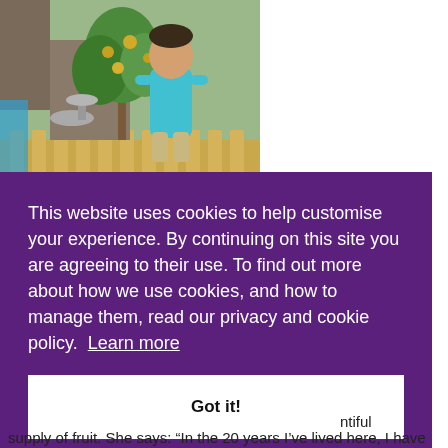[Figure (photo): A child in a blue t-shirt standing in a garden next to a small fruit tree, with garden ornaments visible in the background.]
old us was a t has e in the nly pear
This website uses cookies to help customise your experience. By continuing on this site you are agreeing to their use. To find out more about how we use cookies, and how to manage them, read our privacy and cookie policy. Learn more
Got it!
ntiful supply of fruit. She says: “In the 20 years I’ve lived here, I have